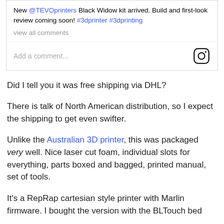[Figure (screenshot): Instagram post comment section showing post text with @TEVOprinters mention and #3dprinter #3dprinting hashtags, view all comments link, and Add a comment input with Instagram camera icon]
Did I tell you it was free shipping via DHL?
There is talk of North American distribution, so I expect the shipping to get even swifter.
Unlike the Australian 3D printer, this was packaged very well. Nice laser cut foam, individual slots for everything, parts boxed and bagged, printed manual, set of tools.
It's a RepRap cartesian style printer with Marlin firmware. I bought the version with the BLTouch bed